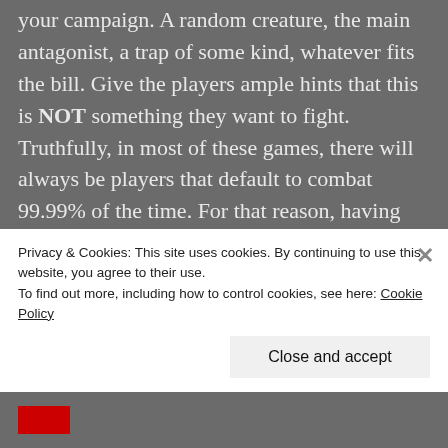your campaign. A random creature, the main antagonist, a trap of some kind, whatever fits the bill. Give the players ample hints that this is NOT something they want to fight. Truthfully, in most of these games, there will always be players that default to combat 99.99% of the time. For that reason, having something they can't wail on until it stops moving will help remove the more skeptically immersed player. One time in a Star Wars campaign, I had a character that was supposed to be an "Oh God, who the hell is that, ruuuuuuuun!" kinda guy. He was the brainwashed enforcer of a chaos-worshiping cultist and he wore a mask that looked like a Rancor. He
Privacy & Cookies: This site uses cookies. By continuing to use this website, you agree to their use.
To find out more, including how to control cookies, see here: Cookie Policy
Close and accept